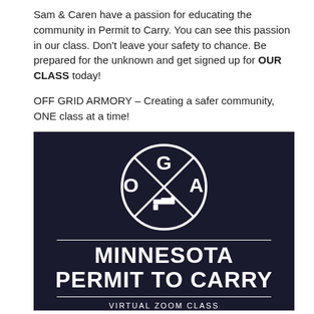Sam & Caren have a passion for educating the community in Permit to Carry. You can see this passion in our class. Don't leave your safety to chance. Be prepared for the unknown and get signed up for OUR CLASS today!

OFF GRID ARMORY – Creating a safer community, ONE class at a time!
[Figure (logo): Off Grid Armory (OGA) logo on dark navy/black background. A circle containing an X shape with letters O, G, A and a pistol icon. Below the logo: horizontal divider line, large bold text 'MINNESOTA PERMIT TO CARRY', another horizontal divider, and text 'VIRTUAL ZOOM CLASS'.]